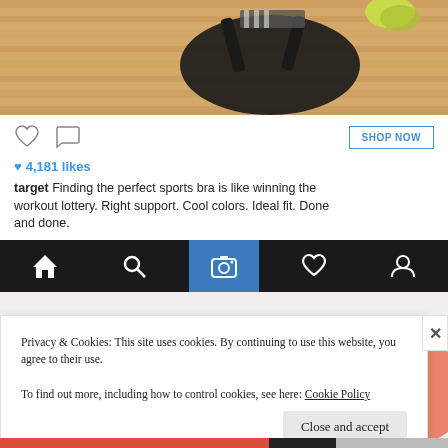[Figure (photo): Sports bra and workout accessories on wooden floor background, top portion cropped]
4,181 likes
target Finding the perfect sports bra is like winning the workout lottery. Right support. Cool colors. Ideal fit. Done and done.
[Figure (screenshot): Instagram mobile navigation bar with home, search, camera (active/highlighted), heart, and profile icons on dark background]
[Figure (photo): Multiple sports bras displayed on white background - black patterned, dark, and pink polka dot styles]
Privacy & Cookies: This site uses cookies. By continuing to use this website, you agree to their use.
To find out more, including how to control cookies, see here: Cookie Policy
Close and accept